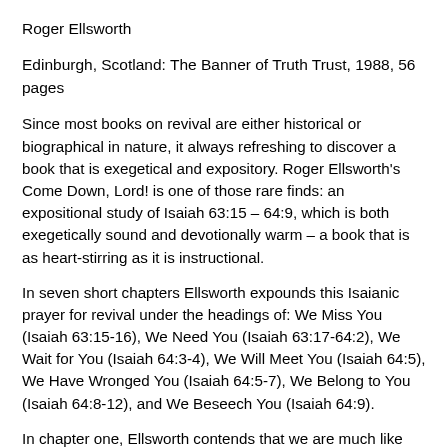Roger Ellsworth
Edinburgh, Scotland: The Banner of Truth Trust, 1988, 56 pages
Since most books on revival are either historical or biographical in nature, it always refreshing to discover a book that is exegetical and expository. Roger Ellsworth’s Come Down, Lord! is one of those rare finds: an expositional study of Isaiah 63:15 – 64:9, which is both exegetically sound and devotionally warm – a book that is as heart-stirring as it is instructional.
In seven short chapters Ellsworth expounds this Isaianic prayer for revival under the headings of: We Miss You (Isaiah 63:15-16), We Need You (Isaiah 63:17-64:2), We Wait for You (Isaiah 64:3-4), We Will Meet You (Isaiah 64:5), We Have Wronged You (Isaiah 64:5-7), We Belong to You (Isaiah 64:8-12), and We Beseech You (Isaiah 64:9).
In chapter one, Ellsworth contends that we are much like the nation of Israel on the brink of Babylonian exile – desperately